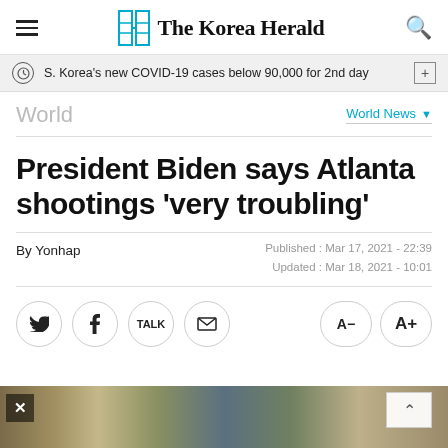The Korea Herald
S. Korea's new COVID-19 cases below 90,000 for 2nd day
World
World News
President Biden says Atlanta shootings 'very troubling'
By Yonhap
Published: Mar 17, 2021 - 22:39
Updated: Mar 18, 2021 - 10:01
[Figure (photo): Partial photo strip at the bottom of the page showing a blurred outdoor scene]